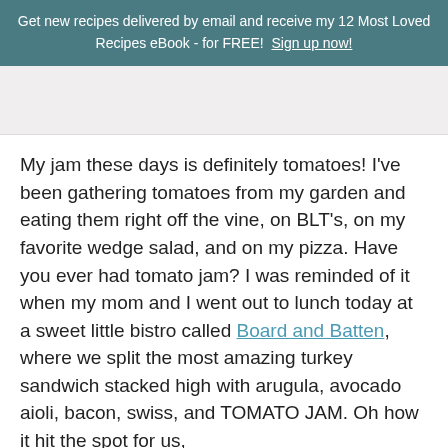Get new recipes delivered by email and receive my 12 Most Loved Recipes eBook - for FREE!  Sign up now!
[Figure (photo): A placeholder or partially visible image area below the header banner]
My jam these days is definitely tomatoes! I've been gathering tomatoes from my garden and eating them right off the vine, on BLT's, on my favorite wedge salad, and on my pizza. Have you ever had tomato jam? I was reminded of it when my mom and I went out to lunch today at a sweet little bistro called Board and Batten, where we split the most amazing turkey sandwich stacked high with arugula, avocado aioli, bacon, swiss, and TOMATO JAM. Oh how it hit the spot for us,